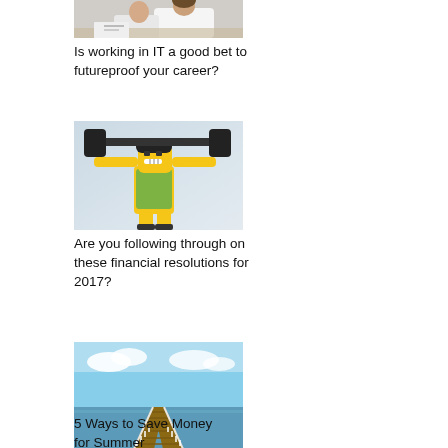[Figure (photo): Two people working together, close-up, partial image visible at top of page]
Is working in IT a good bet to futureproof your career?
[Figure (photo): LEGO minifigure lifting a barbell weight, yellow figure with green outfit, light blue background]
Are you following through on these financial resolutions for 2017?
[Figure (photo): Long wooden pier extending toward the horizon over calm blue water with sky and clouds]
5 Ways to Save Money for Summer